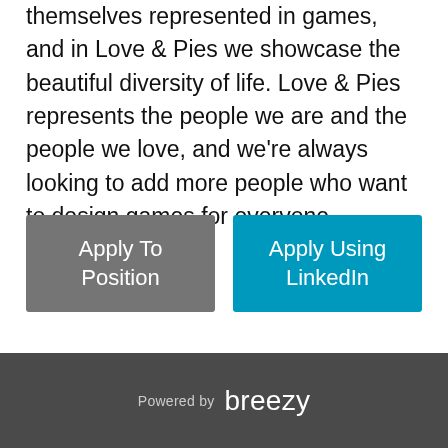themselves represented in games, and in Love & Pies we showcase the beautiful diversity of life. Love & Pies represents the people we are and the people we love, and we're always looking to add more people who want to design games for everyone.
Apply To Position
Apply Using LinkedIn
Powered by breezy